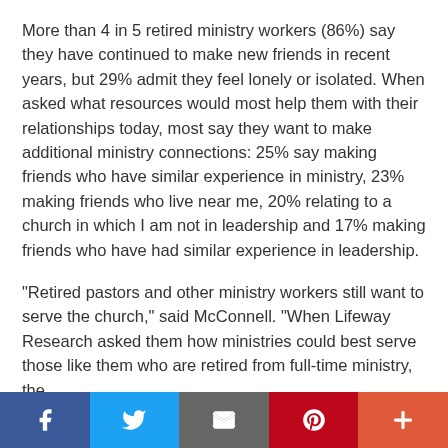More than 4 in 5 retired ministry workers (86%) say they have continued to make new friends in recent years, but 29% admit they feel lonely or isolated. When asked what resources would most help them with their relationships today, most say they want to make additional ministry connections: 25% say making friends who have similar experience in ministry, 23% making friends who live near me, 20% relating to a church in which I am not in leadership and 17% making friends who have had similar experience in leadership.
"Retired pastors and other ministry workers still want to serve the church," said McConnell. "When Lifeway Research asked them how ministries could best serve those like them who are retired from full-time ministry, the
Social share bar: Facebook, Twitter, Email, Pinterest, More